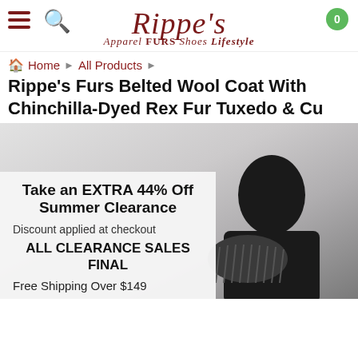Rippe's | Apparel FURS Shoes Lifestyle
Home › All Products
Rippe's Furs Belted Wool Coat With Chinchilla-Dyed Rex Fur Tuxedo & Cu
[Figure (photo): Product photo of a person wearing a dark wool coat with fur, holding up a fur piece. A promotional overlay box shows: Take an EXTRA 44% Off Summer Clearance. Discount applied at checkout. ALL CLEARANCE SALES FINAL. Free Shipping Over $149.]
Take an EXTRA 44% Off Summer Clearance
Discount applied at checkout
ALL CLEARANCE SALES FINAL
Free Shipping Over $149